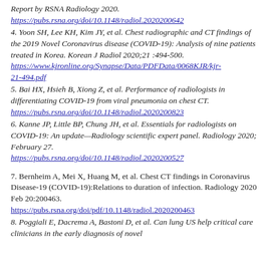Report by RSNA Radiology 2020. https://pubs.rsna.org/doi/10.1148/radiol.2020200642
4. Yoon SH, Lee KH, Kim JY, et al. Chest radiographic and CT findings of the 2019 Novel Coronavirus disease (COVID-19): Analysis of nine patients treated in Korea. Korean J Radiol 2020;21 :494-500. https://www.kjronline.org/Synapse/Data/PDFData/0068KJR/kjr-21-494.pdf
5. Bai HX, Hsieh B, Xiong Z, et al. Performance of radiologists in differentiating COVID-19 from viral pneumonia on chest CT. https://pubs.rsna.org/doi/10.1148/radiol.2020200823
6. Kanne JP, Little BP, Chung JH, et al. Essentials for radiologists on COVID-19: An update—Radiology scientific expert panel. Radiology 2020; February 27. https://pubs.rsna.org/doi/10.1148/radiol.2020200527
7. Bernheim A, Mei X, Huang M, et al. Chest CT findings in Coronavirus Disease-19 (COVID-19):Relations to duration of infection. Radiology 2020 Feb 20:200463. https://pubs.rsna.org/doi/pdf/10.1148/radiol.2020200463
8. Poggiali E, Dacrema A, Bastoni D, et al. Can lung US help critical care clinicians in the early diagnosis of novel